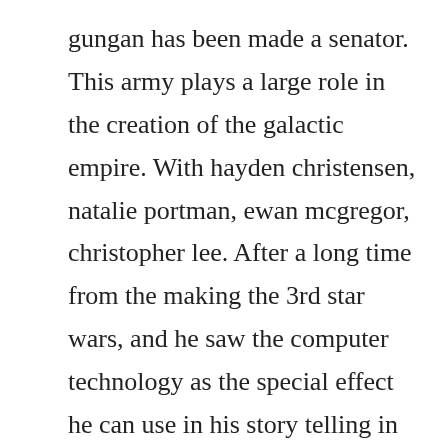gungan has been made a senator. This army plays a large role in the creation of the galactic empire. With hayden christensen, natalie portman, ewan mcgregor, christopher lee. After a long time from the making the 3rd star wars, and he saw the computer technology as the special effect he can use in his story telling in his film, he felt compelled to tell the origin of the movie thus, came the rest. Tv show keeping up with the kardashians season 1, 2, 3, 4, 5, 6, 7, 8, 9, 10, 11, 12 download full episodes and watch in hd 720p,